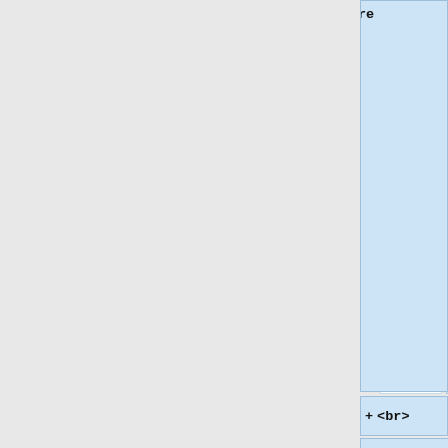Argument (if any) are available in {{hl|_this}} variable inside FSM. Variables set inside FSMs can be read/modified externally, using [[setFSMVariable]] and [[getFSMVariable]] commands.
<br>
<br>